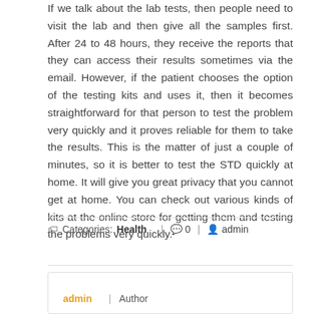If we talk about the lab tests, then people need to visit the lab and then give all the samples first. After 24 to 48 hours, they receive the reports that they can access their results sometimes via the email. However, if the patient chooses the option of the testing kits and uses it, then it becomes straightforward for that person to test the problem very quickly and it proves reliable for them to take the results. This is the matter of just a couple of minutes, so it is better to test the STD quickly at home. It will give you great privacy that you cannot get at home. You can check out various kinds of kits at the online store for getting them and testing the problems very quickly.
Categories: Health | 0 | admin